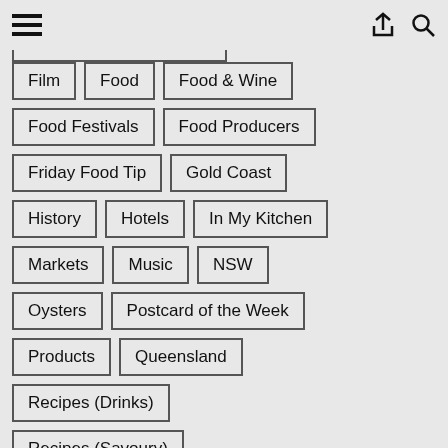Navigation header with hamburger menu, share icon, and search icon
Film
Food
Food & Wine
Food Festivals
Food Producers
Friday Food Tip
Gold Coast
History
Hotels
In My Kitchen
Markets
Music
NSW
Oysters
Postcard of the Week
Products
Queensland
Recipes (Drinks)
Recipes (Savoury)
Recipes (Sweet)
Redcliffe
Restaurants
South Australia
Sunshine Coast
Sustainability